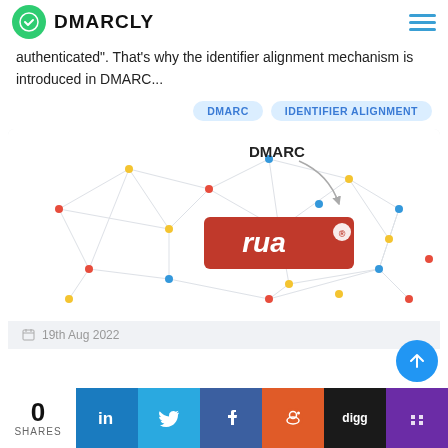DMARCLY
authenticated". That's why the identifier alignment mechanism is introduced in DMARC...
DMARC
IDENTIFIER ALIGNMENT
[Figure (illustration): Network diagram with nodes and edges in light colors, overlaid with a red label reading 'rua' with DMARC text above and a curved arrow.]
19th Aug 2022